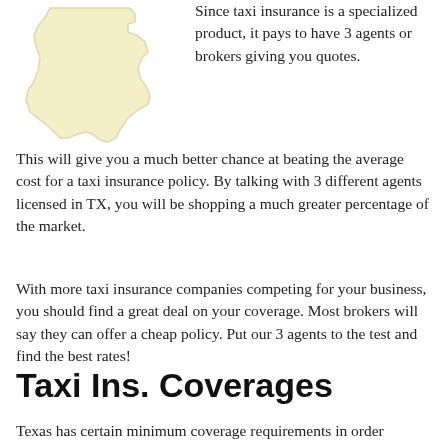[Figure (illustration): Outline silhouette of the state of Texas in a light cream/beige color]
Since taxi insurance is a specialized product, it pays to have 3 agents or brokers giving you quotes.
This will give you a much better chance at beating the average cost for a taxi insurance policy. By talking with 3 different agents licensed in TX, you will be shopping a much greater percentage of the market.
With more taxi insurance companies competing for your business, you should find a great deal on your coverage. Most brokers will say they can offer a cheap policy. Put our 3 agents to the test and find the best rates!
Taxi Ins. Coverages
Texas has certain minimum coverage requirements in order